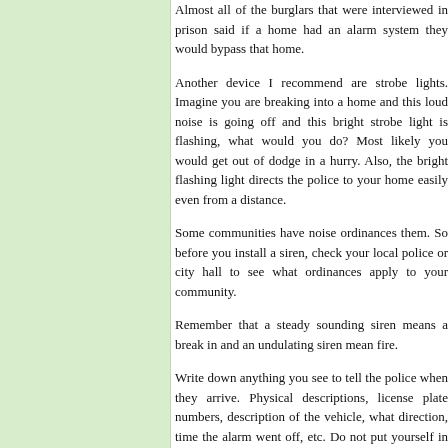Almost all of the burglars that were interviewed in prison said if a home had an alarm system they would bypass that home.
Another device I recommend are strobe lights. Imagine you are breaking into a home and this loud noise is going off and this bright strobe light is flashing, what would you do? Most likely you would get out of dodge in a hurry. Also, the bright flashing light directs the police to your home easily even from a distance.
Some communities have noise ordinances them. So before you install a siren, check your local police or city hall to see what ordinances apply to your community.
Remember that a steady sounding siren means a break in and an undulating siren mean fire.
Write down anything you see to tell the police when they arrive. Physical descriptions, license plate numbers, description of the vehicle, what direction, time the alarm went off, etc. Do not put yourself in danger, let the police do their job.
THINK ABOUT IT!!!!
Posted on March 17th, 2006 at 14:38 by Alex S
monitoring,security services,wireless security systems
2 Comments leave a comment